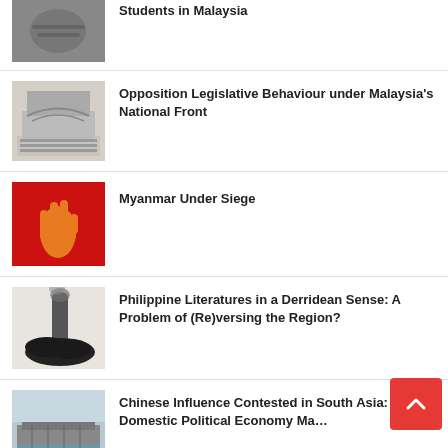Students in Malaysia
Opposition Legislative Behaviour under Malaysia's National Front
Myanmar Under Siege
Philippine Literatures in a Derridean Sense: A Problem of (Re)versing the Region?
Chinese Influence Contested in South Asia: Domestic Political Economy Ma...